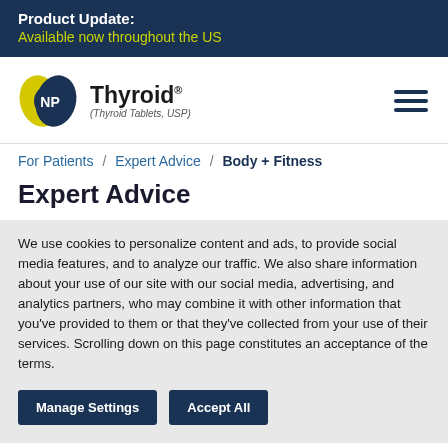Product Update: Available now throughout the US
[Figure (logo): NP Thyroid logo with yellow and blue leaf shapes, text 'NP Thyroid (Thyroid Tablets, USP)']
For Patients / Expert Advice / Body + Fitness
Expert Advice
We use cookies to personalize content and ads, to provide social media features, and to analyze our traffic. We also share information about your use of our site with our social media, advertising, and analytics partners, who may combine it with other information that you've provided to them or that they've collected from your use of their services. Scrolling down on this page constitutes an acceptance of the terms.
Manage Settings | Accept All